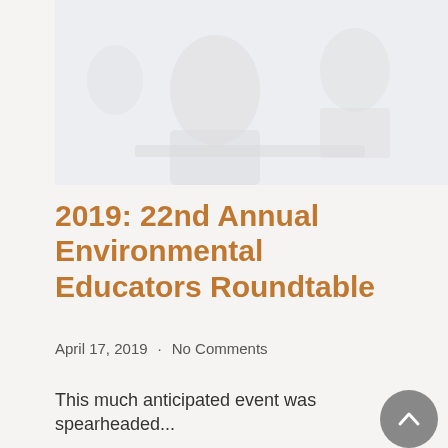[Figure (photo): A faded/washed-out photograph of people at a roundtable or classroom setting, seated at tables, muted gray-blue tones]
2019: 22nd Annual Environmental Educators Roundtable
April 17, 2019  ·  No Comments
This much anticipated event was spearheaded...